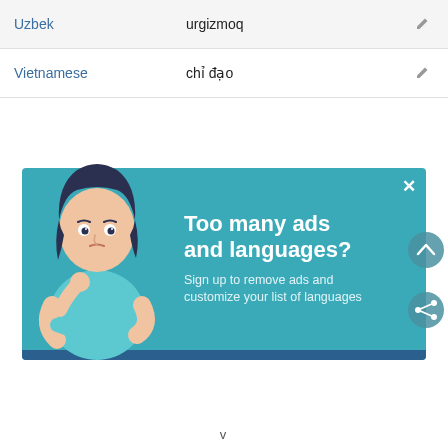| Language | Translation |  |
| --- | --- | --- |
| Uzbek | urgizmoq | ✎ |
| Vietnamese | chỉ đạo | ✎ |
[Figure (illustration): Advertisement banner with a cartoon woman looking thoughtful, teal background, text 'Too many ads and languages? Sign up to remove ads and customize your list of languages', with close (X), chevron (^), and share icons.]
v